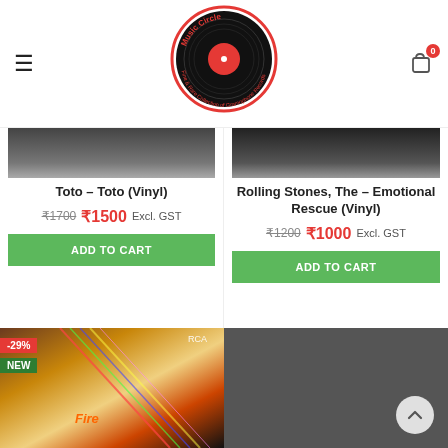[Figure (logo): Music Circle logo: vinyl record with red center, circular text reading 'Music Circle - Fine & Rare Collection of Gramophone Records']
Toto – Toto (Vinyl)
₹1700 ₹1500 Excl. GST
ADD TO CART
Rolling Stones, The – Emotional Rescue (Vinyl)
₹1200 ₹1000 Excl. GST
ADD TO CART
[Figure (photo): Album cover for a vinyl record featuring two women, colorful light streaks, RCA label, with badges -29% and NEW]
[Figure (photo): Black and white portrait of a man (Bryan Adams), with badges -11%, SOLD OUT, and NEW]